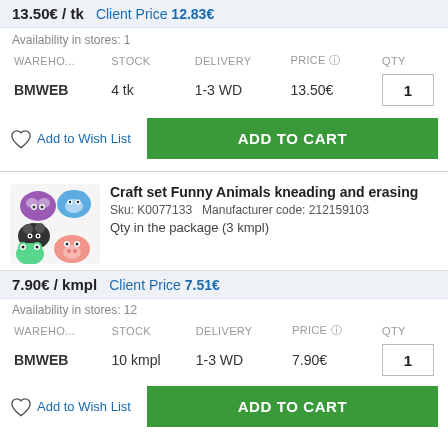13.50€ / tk   Client Price 12.83€
Availability in stores: 1
| WAREHO... | STOCK | DELIVERY | PRICE | QTY |
| --- | --- | --- | --- | --- |
| BMWEB | 4 tk | 1-3 WD | 13.50€ | 1 |
Add to Wish List
ADD TO CART
Craft set Funny Animals kneading and erasing
Sku: K0077133   Manufacturer code: 212159103
Qty in the package (3 kmpl)
7.90€ / kmpl   Client Price 7.51€
Availability in stores: 12
| WAREHO... | STOCK | DELIVERY | PRICE | QTY |
| --- | --- | --- | --- | --- |
| BMWEB | 10 kmpl | 1-3 WD | 7.90€ | 1 |
Add to Wish List
ADD TO CART